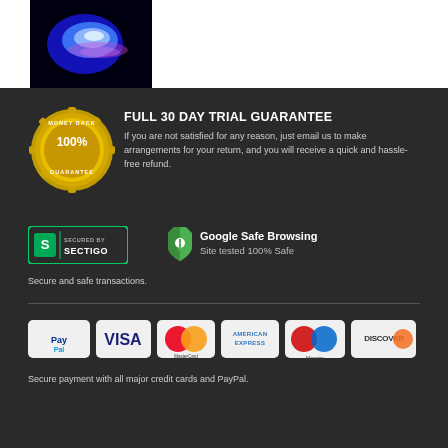[Figure (photo): Product image with blue/purple glow on dark background, top-left of page]
[Figure (illustration): Money Back 100% Guarantee gold badge/seal]
FULL 30 DAY TRIAL GUARANTEE
If you are not satisfied for any reason, just email us to make arrangements for your return, and you will receive a quick and hassle-free refund.
[Figure (logo): Secured by Sectigo logo badge with green border]
[Figure (logo): Google Safe Browsing - Site tested 100% Safe badge]
Secure and safe transactions.
[Figure (logo): Payment method logos: PayPal, VISA, MasterCard, American Express, Maestro, Discover]
Secure payment with all major credit cards and PayPal.